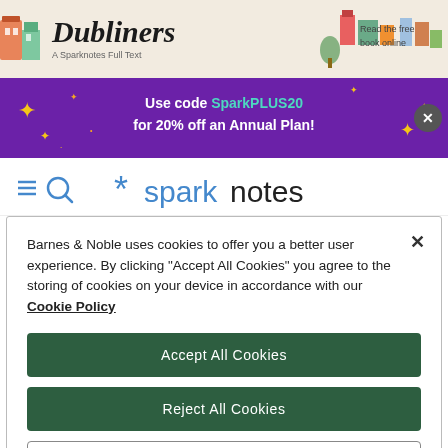[Figure (screenshot): Dubliners book banner with illustrated houses/buildings and 'A Sparknotes Full Text' subtitle. 'Read the free book online' text on right.]
[Figure (screenshot): Purple promotional banner: 'Use code SparkPLUS20 for 20% off an Annual Plan!' with gold sparkle decorations and X close button.]
[Figure (logo): SparkNotes logo with asterisk and hamburger menu/search icons on left.]
Barnes & Noble uses cookies to offer you a better user experience. By clicking "Accept All Cookies" you agree to the storing of cookies on your device in accordance with our Cookie Policy
Accept All Cookies
Reject All Cookies
Manage Preferences